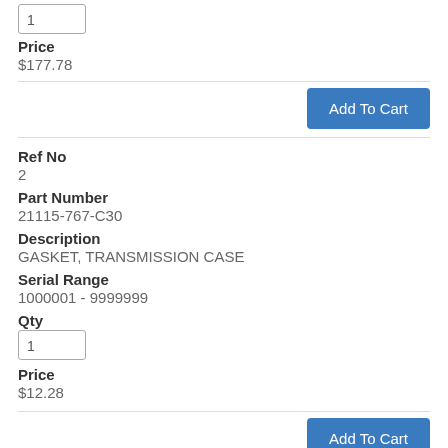1
Price
$177.78
Add To Cart
Ref No
2
Part Number
21115-767-C30
Description
GASKET, TRANSMISSION CASE
Serial Range
1000001 - 9999999
Qty
1
Price
$12.28
Add To Cart